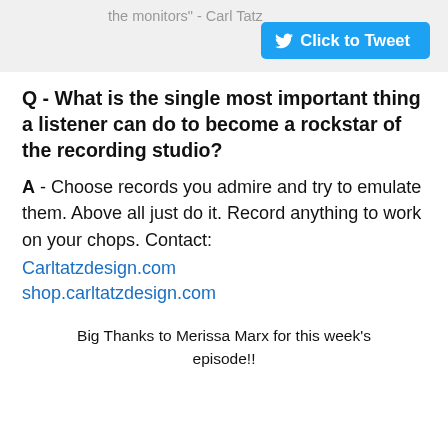the monitors" - Carl Tatz
[Figure (other): Click to Tweet button with Twitter bird icon on blue background]
Q - What is the single most important thing a listener can do to become a rockstar of the recording studio?
A - Choose records you admire and try to emulate them. Above all just do it. Record anything to work on your chops. Contact:
Carltatzdesign.com
shop.carltatzdesign.com
Big Thanks to Merissa Marx for this week's episode!!